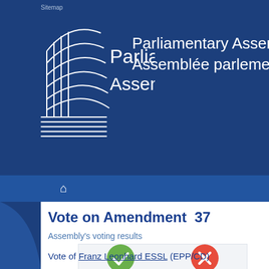[Figure (screenshot): Parliamentary Assembly / Assemblée parlementaire header banner with logo on dark blue background]
Sitemap
Vote on Amendment  37
Assembly's voting results
| In favour | Against |
| --- | --- |
| 36 | 102 |
Vote of Franz Leonhard ESSL (EPP/CD)